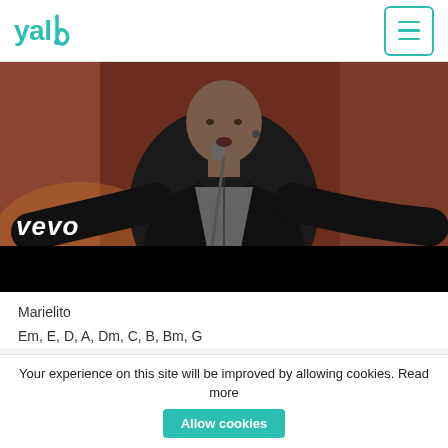yalp [hamburger menu button]
[Figure (photo): A male performer in a black leather jacket singing into a microphone on stage with arms outstretched. Vevo logo visible in lower left. Background shows reddish-brown stage lighting. Black bar at bottom of video frame.]
Marielito
Em, E, D, A, Dm, C, B, Bm, G
Your experience on this site will be improved by allowing cookies. Read more  Allow cookies